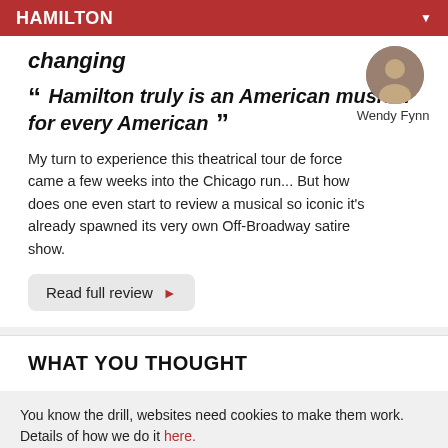HAMILTON
changing
" Hamilton truly is an American musical for every American "
Wendy Fynn
My turn to experience this theatrical tour de force came a few weeks into the Chicago run... But how does one even start to review a musical so iconic it's already spawned its very own Off-Broadway satire show.
Read full review
WHAT YOU THOUGHT
You know the drill, websites need cookies to make them work. Details of how we do it here.
Got it!